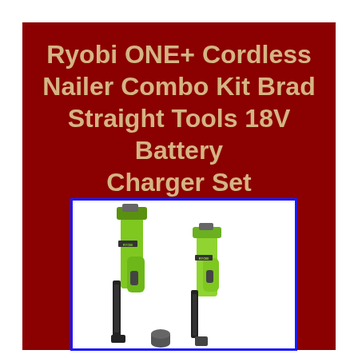Ryobi ONE+ Cordless Nailer Combo Kit Brad Straight Tools 18V Battery Charger Set
[Figure (photo): Two Ryobi ONE+ 18V cordless nailers (brad nailer and straight nailer) in yellow-green color, shown side by side with accessories, photographed on white background inside a blue-bordered frame]